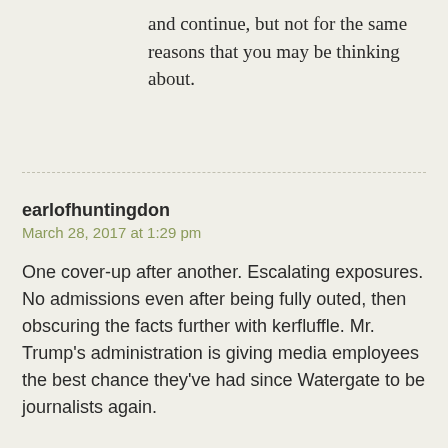and continue, but not for the same reasons that you may be thinking about.
earlofhuntingdon
March 28, 2017 at 1:29 pm

One cover-up after another. Escalating exposures. No admissions even after being fully outed, then obscuring the facts further with kerfluffle. Mr. Trump's administration is giving media employees the best chance they've had since Watergate to be journalists again.